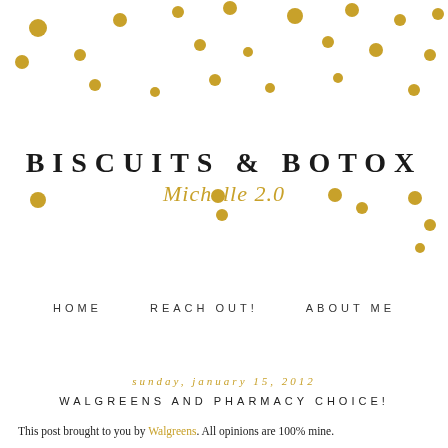[Figure (illustration): Gold confetti dots scattered across white background, concentrated at the top of the page and some in the middle area]
BISCUITS & BOTOX
Michelle 2.0
HOME   REACH OUT!   ABOUT ME
sunday, january 15, 2012
WALGREENS AND PHARMACY CHOICE!
This post brought to you by Walgreens. All opinions are 100% mine.